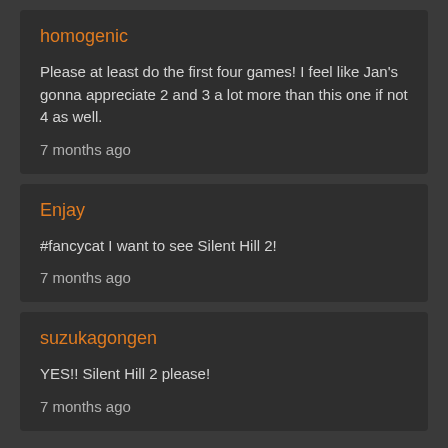homogenic
Please at least do the first four games! I feel like Jan's gonna appreciate 2 and 3 a lot more than this one if not 4 as well.
7 months ago
Enjay
#fancycat I want to see Silent Hill 2!
7 months ago
suzukagongen
YES!! Silent Hill 2 please!
7 months ago